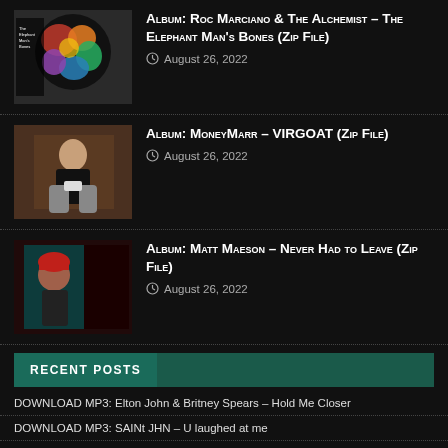ALBUM: Roc Marciano & The Alchemist – The Elephant Man's Bones (Zip File) — August 26, 2022
ALBUM: MoneyMarr – VIRGOAT (Zip File) — August 26, 2022
ALBUM: Matt Maeson – Never Had to Leave (Zip File) — August 26, 2022
RECENT POSTS
DOWNLOAD MP3: Elton John & Britney Spears – Hold Me Closer
DOWNLOAD MP3: SAINt JHN – U laughed at me